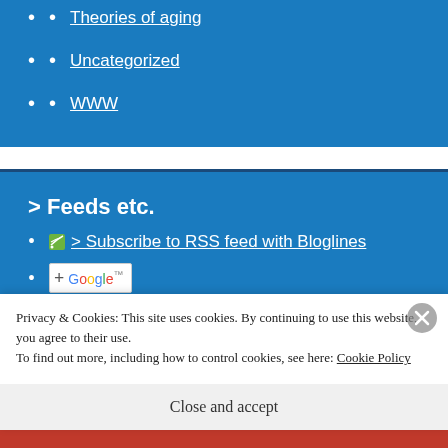Theories of aging
Uncategorized
WWW
> Feeds etc.
> Subscribe to RSS feed with Bloglines
+ Google
Article feed
Privacy & Cookies: This site uses cookies. By continuing to use this website, you agree to their use.
To find out more, including how to control cookies, see here: Cookie Policy
Close and accept